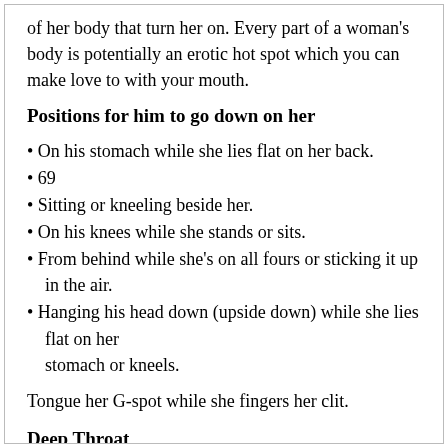of her body that turn her on. Every part of a woman's body is potentially an erotic hot spot which you can make love to with your mouth.
Positions for him to go down on her
On his stomach while she lies flat on her back.
69
Sitting or kneeling beside her.
On his knees while she stands or sits.
From behind while she's on all fours or sticking it up in the air.
Hanging his head down (upside down) while she lies flat on her stomach or kneels.
Tongue her G-spot while she fingers her clit.
Deep Throat
I've instructed many women on how to deep throat; those that could do it loved me; those who couldn't, didn't. The most important factor in being able to do